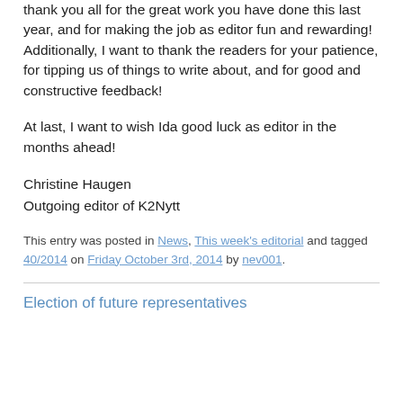thank you all for the great work you have done this last year, and for making the job as editor fun and rewarding! Additionally, I want to thank the readers for your patience, for tipping us of things to write about, and for good and constructive feedback!
At last, I want to wish Ida good luck as editor in the months ahead!
Christine Haugen
Outgoing editor of K2Nytt
This entry was posted in News, This week's editorial and tagged 40/2014 on Friday October 3rd, 2014 by nev001.
Election of future representatives